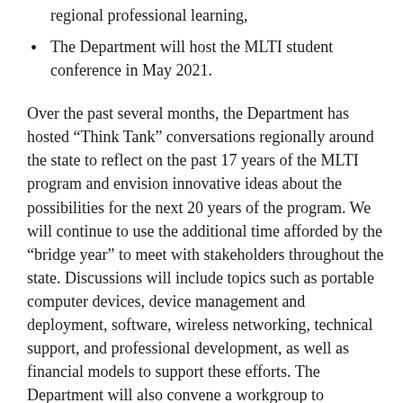regional professional learning,
The Department will host the MLTI student conference in May 2021.
Over the past several months, the Department has hosted “Think Tank” conversations regionally around the state to reflect on the past 17 years of the MLTI program and envision innovative ideas about the possibilities for the next 20 years of the program. We will continue to use the additional time afforded by the “bridge year” to meet with stakeholders throughout the state. Discussions will include topics such as portable computer devices, device management and deployment, software, wireless networking, technical support, and professional development, as well as financial models to support these efforts. The Department will also convene a workgroup to synthesize this information and help to create a plan for the state.